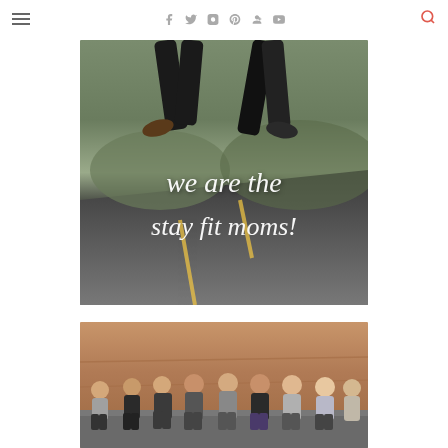Navigation header with hamburger menu, social icons (Facebook, Twitter, Instagram, Pinterest, Google+, YouTube), and search icon
[Figure (photo): Two people jumping on a road with text overlay reading 'we are the stay fit moms!' in white script lettering on a background of a road with desert landscape]
[Figure (photo): Group of women sitting together outdoors against a red rock/sandstone wall background, wearing workout/athletic clothing in various colors]